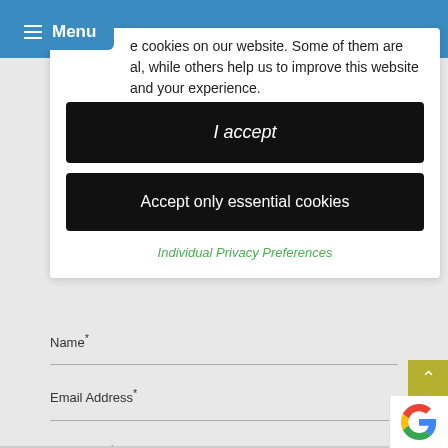Menu
e cookies on our website. Some of them are al, while others help us to improve this website and your experience.
I accept
Accept only essential cookies
Individual Privacy Preferences
Name*
Email Address*
Telephone*
Enquiry